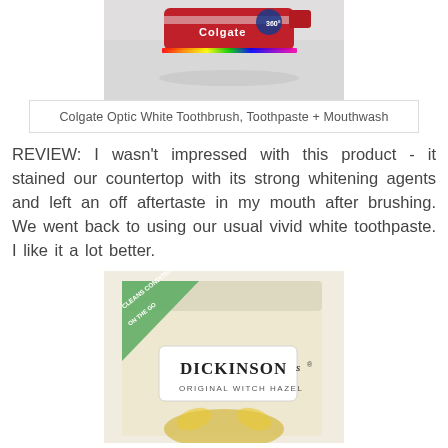[Figure (photo): Photo of Colgate Optic White Toothbrush, Toothpaste and Mouthwash products on a surface — red/white packaging with rainbow holographic edge visible]
Colgate Optic White Toothbrush, Toothpaste + Mouthwash
REVIEW: I wasn't impressed with this product - it stained our countertop with its strong whitening agents and left an off aftertaste in my mouth after brushing. We went back to using our usual vivid white toothpaste. I like it a lot better.
[Figure (photo): Photo of Dickinson's Original Witch Hazel product box — cream/beige colored box with green diagonal banner reading 'CLEANS CONDITION ON THE GO', Dickinson's brand label visible]